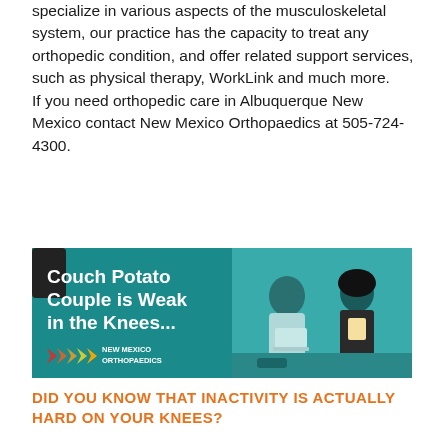specialize in various aspects of the musculoskeletal system, our practice has the capacity to treat any orthopedic condition, and offer related support services, such as physical therapy, WorkLink and much more.
If you need orthopedic care in Albuquerque New Mexico contact New Mexico Orthopaedics at 505-724-4300.
[Figure (photo): Advertisement banner for New Mexico Orthopaedics showing a couple sitting on a couch with a laptop and snacks, with text 'Couch Potato Couple is Weak in the Knees...' and the New Mexico Orthopaedics logo with colorful arrows.]
DID YOU KNOW THAT INACTIVITY IS ACTUALLY HARD ON YOUR KNEES?